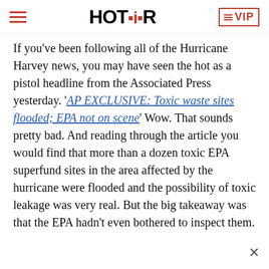HOT AIR | VIP
If you've been following all of the Hurricane Harvey news, you may have seen the hot as a pistol headline from the Associated Press yesterday. 'AP EXCLUSIVE: Toxic waste sites flooded; EPA not on scene' Wow. That sounds pretty bad. And reading through the article you would find that more than a dozen toxic EPA superfund sites in the area affected by the hurricane were flooded and the possibility of toxic leakage was very real. But the big takeaway was that the EPA hadn't even bothered to inspect them.